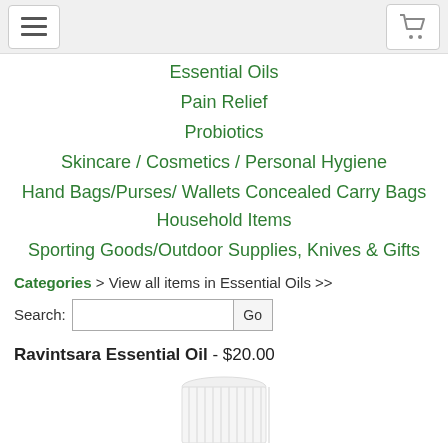Navigation bar with hamburger menu and cart icon
Essential Oils
Pain Relief
Probiotics
Skincare / Cosmetics / Personal Hygiene
Hand Bags/Purses/ Wallets Concealed Carry Bags
Household Items
Sporting Goods/Outdoor Supplies, Knives & Gifts
Categories > View all items in Essential Oils >>
Search: [input] Go
Ravintsara Essential Oil - $20.00
[Figure (photo): Top of a small white essential oil bottle cap, partially visible at the bottom of the page]